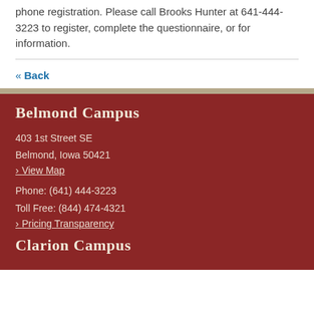phone registration. Please call Brooks Hunter at 641-444-3223 to register, complete the questionnaire, or for information.
« Back
Belmond Campus
403 1st Street SE
Belmond, Iowa 50421
› View Map
Phone: (641) 444-3223
Toll Free: (844) 474-4321
› Pricing Transparency
Clarion Campus